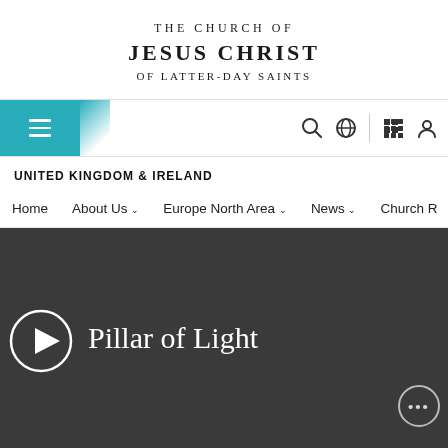THE CHURCH OF JESUS CHRIST OF LATTER-DAY SAINTS
[Figure (screenshot): Navigation bar with teal menu button, hamburger icon, search icon, globe icon, grid icon, and profile icon]
UNITED KINGDOM & IRELAND
Home  About Us  Europe North Area  News  Church R
[Figure (screenshot): Dark gray video panel with circular play button on the left and the text 'Pillar of Light' in white serif font in the center, and a more options button (ellipsis) in the bottom right]